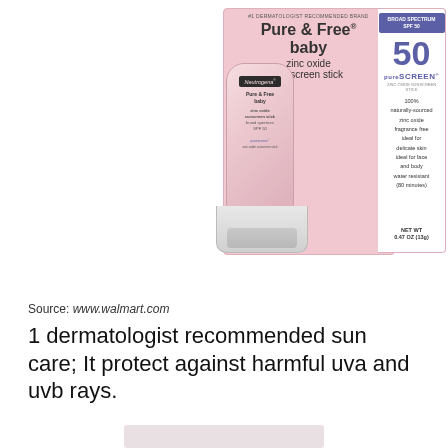[Figure (photo): Neutrogena Pure & Free Baby zinc oxide sunscreen stick SPF 50 product in packaging, showing both the stick applicator and the box with pink and white design.]
Source: www.walmart.com
1 dermatologist recommended sun care; It protect against harmful uva and uvb rays.